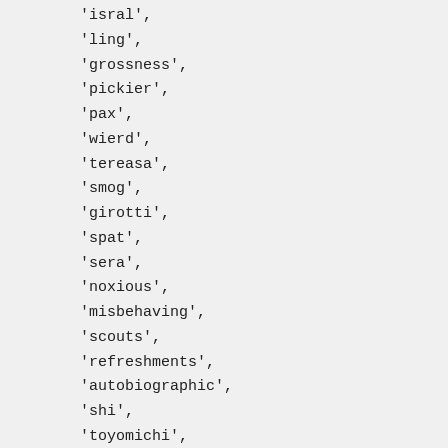'isral',
'ling',
'grossness',
'pickier',
'pax',
'wierd',
'tereasa',
'smog',
'girotti',
'spat',
'sera',
'noxious',
'misbehaving',
'scouts',
'refreshments',
'autobiographic',
'shi',
'toyomichi',
'bits',
'psychotics',
'barzell',